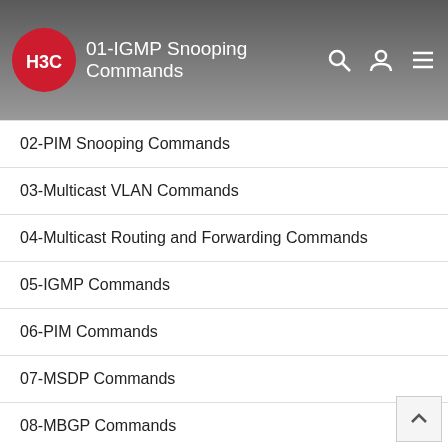01-IGMP Snooping Commands
02-PIM Snooping Commands
03-Multicast VLAN Commands
04-Multicast Routing and Forwarding Commands
05-IGMP Commands
06-PIM Commands
07-MSDP Commands
08-MBGP Commands
09-Multicast VPN Commands
10-MLD Snooping Commands
11-IPv6 PIM Snooping Commands